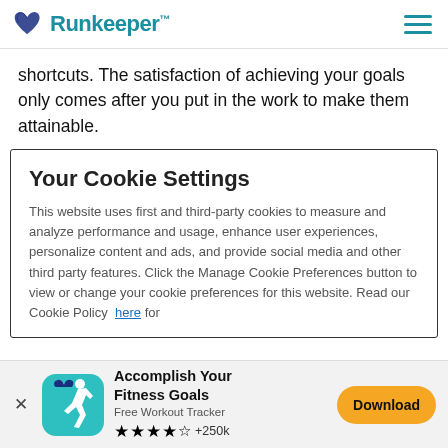Runkeeper
shortcuts. The satisfaction of achieving your goals only comes after you put in the work to make them attainable.
Your Cookie Settings
This website uses first and third-party cookies to measure and analyze performance and usage, enhance user experiences, personalize content and ads, and provide social media and other third party features. Click the Manage Cookie Preferences button to view or change your cookie preferences for this website. Read our Cookie Policy here for
[Figure (screenshot): App download banner for Runkeeper: Accomplish Your Fitness Goals, Free Workout Tracker, 4.5 stars +250k, Download button]